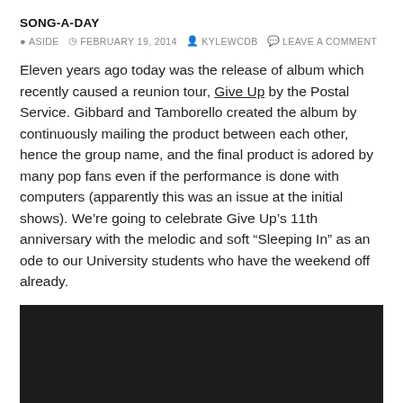SONG-A-DAY
ASIDE   FEBRUARY 19, 2014   KYLEWCDB   LEAVE A COMMENT
Eleven years ago today was the release of album which recently caused a reunion tour, Give Up by the Postal Service. Gibbard and Tamborello created the album by continuously mailing the product between each other, hence the group name, and the final product is adored by many pop fans even if the performance is done with computers (apparently this was an issue at the initial shows). We’re going to celebrate Give Up’s 11th anniversary with the melodic and soft “Sleeping In” as an ode to our University students who have the weekend off already.
[Figure (other): Dark/black video embed area]